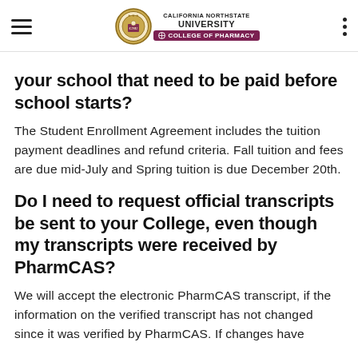California Northstate University College of Pharmacy
your school that need to be paid before school starts?
The Student Enrollment Agreement includes the tuition payment deadlines and refund criteria. Fall tuition and fees are due mid-July and Spring tuition is due December 20th.
Do I need to request official transcripts be sent to your College, even though my transcripts were received by PharmCAS?
We will accept the electronic PharmCAS transcript, if the information on the verified transcript has not changed since it was verified by PharmCAS. If changes have